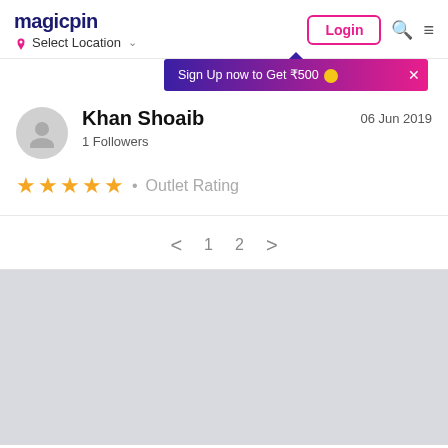magicpin | Select Location | Login
Sign Up now to Get ₹500
Khan Shoaib
1 Followers
06 Jun 2019
★★★★★ • Outlet Rating
< 1 2 >